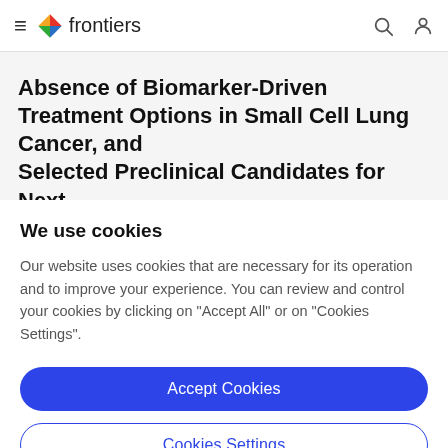frontiers
Absence of Biomarker-Driven Treatment Options in Small Cell Lung Cancer, and Selected Preclinical Candidates for Next
We use cookies
Our website uses cookies that are necessary for its operation and to improve your experience. You can review and control your cookies by clicking on "Accept All" or on "Cookies Settings".
Accept Cookies
Cookies Settings